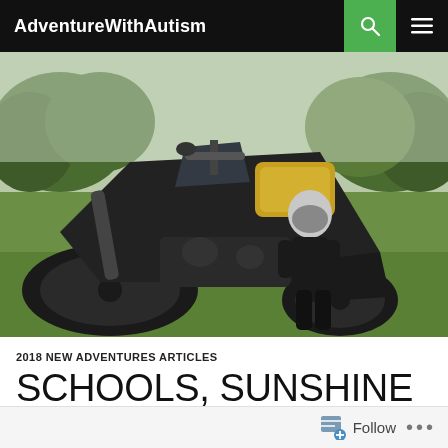AdventureWithAutism
[Figure (photo): A black BMW adventure motorcycle parked on green grass in a field. It has yellow luggage strapped to the rear. In the background, a person wearing a motorcycle helmet and dark riding gear stands on the grass. Trees are visible in the background under an overcast sky.]
2018 NEW ADVENTURES ARTICLES
SCHOOLS, SUNSHINE AND SCOTLAND
Follow ...